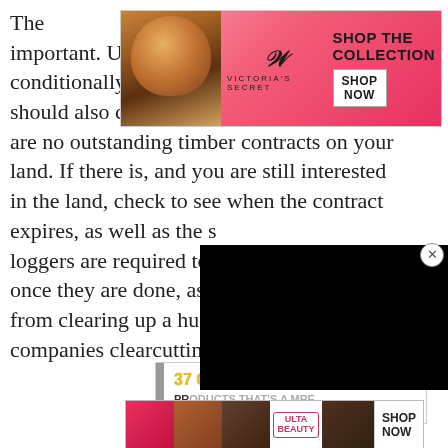important. Usually, these are provided conditionally through the sale, but you should also check to make sure that there are no outstanding timber contracts on your land. If there is, and you are still interested in the land, check to see when the contract expires, as well as the s[teps] loggers are required to [follow] once they are done, as t[his can save you] from clearing up a huge [mess from] companies clearcutting
[Figure (advertisement): Victoria's Secret advertisement banner with pink gradient background, model photo, VS logo, 'SHOP THE COLLECTION' text, and 'SHOP NOW' button]
[Figure (screenshot): Black video player overlay covering part of the text]
[Figure (advertisement): 37 Genius Amazon Products advertisement with yellow text and CLOSE button]
[Figure (advertisement): Ulta Beauty advertisement with model photos, Ulta logo, and SHOP NOW button]